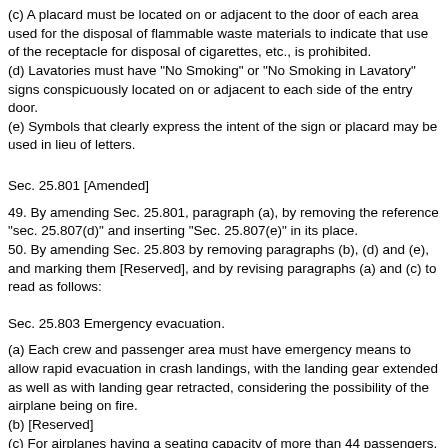(c) A placard must be located on or adjacent to the door of each area used for the disposal of flammable waste materials to indicate that use of the receptacle for disposal of cigarettes, etc., is prohibited.
(d) Lavatories must have "No Smoking" or "No Smoking in Lavatory" signs conspicuously located on or adjacent to each side of the entry door.
(e) Symbols that clearly express the intent of the sign or placard may be used in lieu of letters.
Sec. 25.801 [Amended]
49. By amending Sec. 25.801, paragraph (a), by removing the reference "sec. 25.807(d)" and inserting "Sec. 25.807(e)" in its place.
50. By amending Sec. 25.803 by removing paragraphs (b), (d) and (e), and marking them [Reserved], and by revising paragraphs (a) and (c) to read as follows:
Sec. 25.803 Emergency evacuation.
(a) Each crew and passenger area must have emergency means to allow rapid evacuation in crash landings, with the landing gear extended as well as with landing gear retracted, considering the possibility of the airplane being on fire.
(b) [Reserved]
(c) For airplanes having a seating capacity of more than 44 passengers, it must be shown that the maximum seating capacity, including the number of required